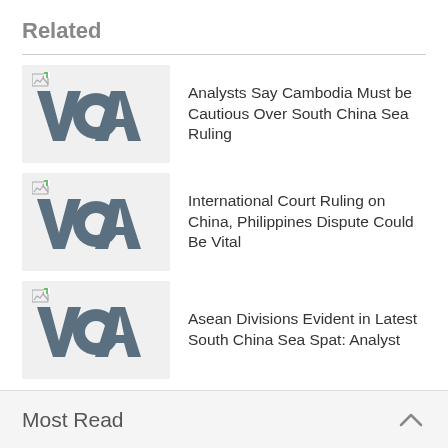Related
Analysts Say Cambodia Must be Cautious Over South China Sea Ruling
International Court Ruling on China, Philippines Dispute Could Be Vital
Asean Divisions Evident in Latest South China Sea Spat: Analyst
Most Read